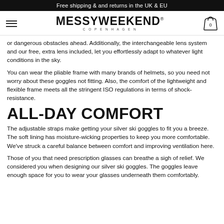Free shipping & and returns in the UK & EU
[Figure (logo): MessyWeekend Copenhagen logo with hamburger menu and cart icon]
or dangerous obstacles ahead. Additionally, the interchangeable lens system and our free, extra lens included, let you effortlessly adapt to whatever light conditions in the sky.
You can wear the pliable frame with many brands of helmets, so you need not worry about these goggles not fitting. Also, the comfort of the lightweight and flexible frame meets all the stringent ISO regulations in terms of shock-resistance.
ALL-DAY COMFORT
The adjustable straps make getting your silver ski goggles to fit you a breeze. The soft lining has moisture-wicking properties to keep you more comfortable. We've struck a careful balance between comfort and improving ventilation here.
Those of you that need prescription glasses can breathe a sigh of relief. We considered you when designing our silver ski goggles. The goggles leave enough space for you to wear your glasses underneath them comfortably.